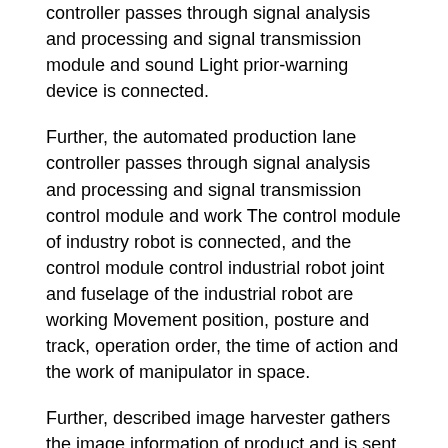controller passes through signal analysis and processing and signal transmission module and sound Light prior-warning device is connected.
Further, the automated production lane controller passes through signal analysis and processing and signal transmission control module and work The control module of industry robot is connected, and the control module control industrial robot joint and fuselage of the industrial robot are working Movement position, posture and track, operation order, the time of action and the work of manipulator in space.
Further, described image harvester gathers the image information of product and is sent to the image information collected Automated production lane controller, the automated production lane controller is by the product image information of reception and the product image that prestores Information compares.
Further, the automated production lane controller starting sound light prior-warning device sends faulty materials alarm parallel connection and started building The motion of the control module control industrial robot of industry